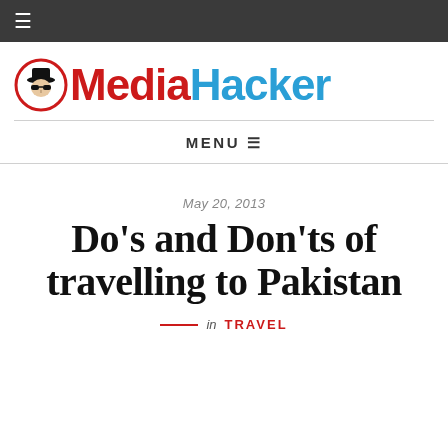≡
[Figure (logo): MediaHacker logo with circular icon of a figure wearing a hat and sunglasses, with red 'Media' and blue 'Hacker' text]
MENU ≡
May 20, 2013
Do's and Don'ts of travelling to Pakistan
in TRAVEL